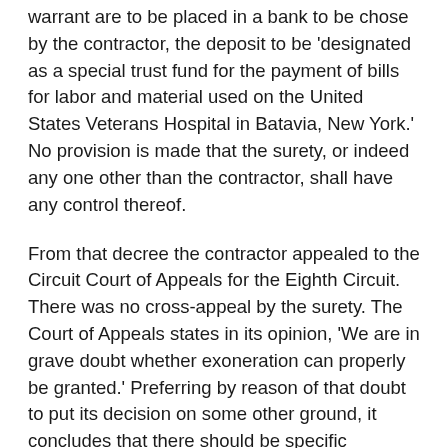warrant are to be placed in a bank to be chose by the contractor, the deposit to be 'designated as a special trust fund for the payment of bills for labor and material used on the United States Veterans Hospital in Batavia, New York.' No provision is made that the surety, or indeed any one other than the contractor, shall have any control thereof.
From that decree the contractor appealed to the Circuit Court of Appeals for the Eighth Circuit. There was no cross-appeal by the surety. The Court of Appeals states in its opinion, 'We are in grave doubt whether exoneration can properly be granted.' Preferring by reason of that doubt to put its decision on some other ground, it concludes that there should be specific performance of the supplementary agreement. It concedes that the surety is in default for failing to live up to the agreement strictly, but it finds that the default was not unconscionable or fraudulent, and that a court of equity in its discretion may overlook an